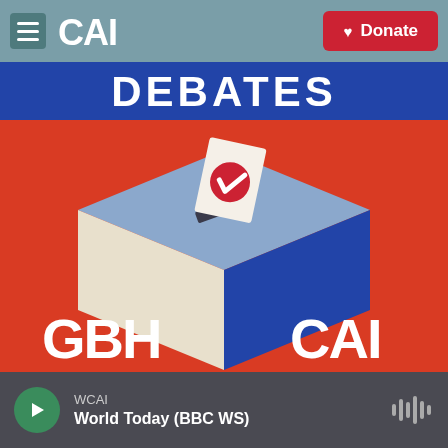CAI | Donate
[Figure (illustration): Illustration of a ballot box on a red background with 'DEBATES' text at the top in blue banner. The isometric ballot box is light blue/white with a ballot being inserted. GBH logo in bottom left, CAI logo in bottom right.]
WCAI
World Today (BBC WS)